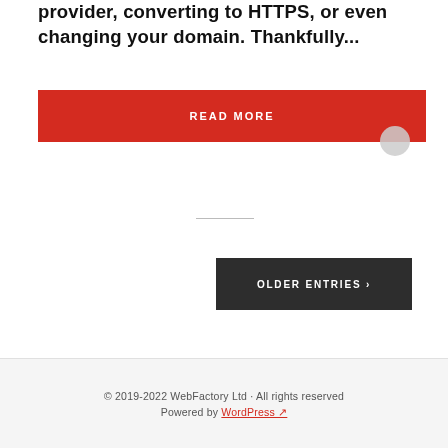provider, converting to HTTPS, or even changing your domain. Thankfully...
READ MORE
OLDER ENTRIES ›
© 2019-2022 WebFactory Ltd · All rights reserved
Powered by WordPress ↗